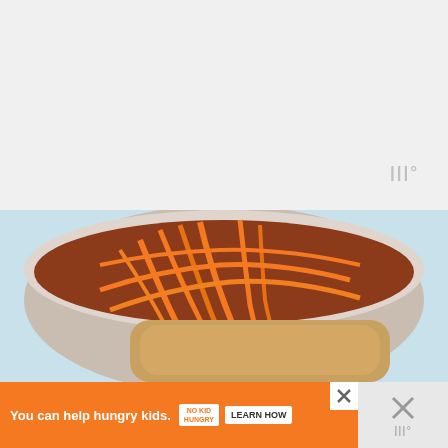[Figure (other): Light gray placeholder/blank area at top of page, possibly an ad or content area not loaded]
[Figure (photo): Close-up photo of food in a bowl — pasta or noodles wrapped in orange/yellow strands (possibly cheese or carrot strips) on a light blue background]
[Figure (other): Orange advertisement banner: 'You can help hungry kids.' with No Kid Hungry logo and LEARN HOW button. Includes close X button and side panel with X and logo mark.]